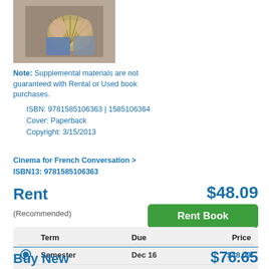[Figure (photo): Book cover photo showing a person holding a decorative fan, wearing period costume]
Note: Supplemental materials are not guaranteed with Rental or Used book purchases.
ISBN: 9781585106363 | 1585106364
Cover: Paperback
Copyright: 3/15/2013
Cinema for French Conversation >
ISBN13: 9781585106363
Rent
$48.09
(Recommended)
Rent Book
|  | Term | Due | Price |
| --- | --- | --- | --- |
| ● | Semester | Dec 16 | $48.09 |
| ○ | Quarter | Nov 30 | $45.69 |
| ○ | Short Term | Oct 31 | $43.28 |
Buy New
$76.65